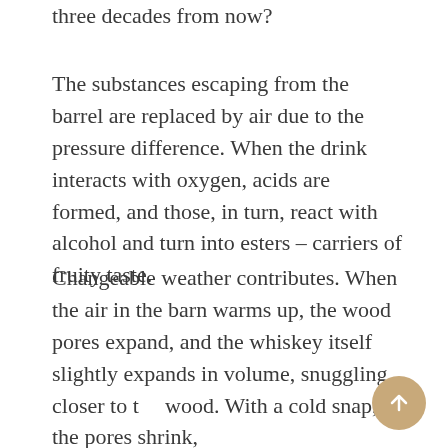three decades from now?
The substances escaping from the barrel are replaced by air due to the pressure difference. When the drink interacts with oxygen, acids are formed, and those, in turn, react with alcohol and turn into esters – carriers of fruity taste.
Changeable weather contributes. When the air in the barn warms up, the wood pores expand, and the whiskey itself slightly expands in volume, snuggling closer to the wood. With a cold snap, the pores shrink,